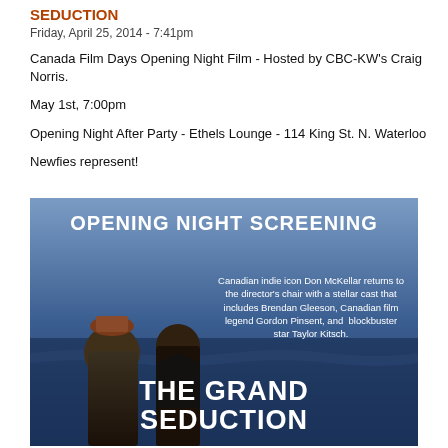SEDUCTION
Friday, April 25, 2014 - 7:41pm
Canada Film Days Opening Night Film - Hosted by CBC-KW's Craig Norris.
May 1st, 7:00pm
Opening Night After Party - Ethels Lounge - 114 King St. N. Waterloo
Newfies represent!
[Figure (photo): Movie poster for 'The Grand Seduction' showing an opening night screening advertisement. Features two men standing outdoors with text: 'OPENING NIGHT SCREENING - Canadian indie icon Don McKellar returns to the director's chair with a stellar cast that includes Brendan Gleeson, Canadian film legend Gordon Pinsent, and blockbuster star Taylor Kitsch. THE GRAND SEDUCTION']